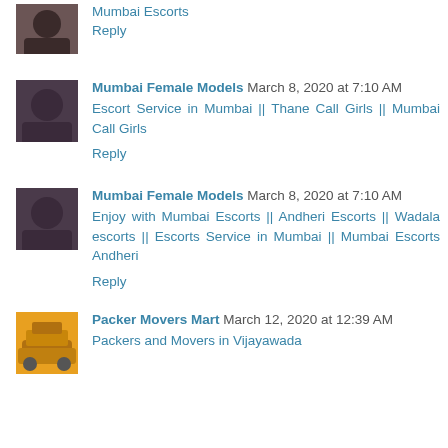Mumbai Escorts
Reply
Mumbai Female Models  March 8, 2020 at 7:10 AM
Escort Service in Mumbai || Thane Call Girls || Mumbai Call Girls
Reply
Mumbai Female Models  March 8, 2020 at 7:10 AM
Enjoy with Mumbai Escorts || Andheri Escorts || Wadala escorts || Escorts Service in Mumbai || Mumbai Escorts Andheri
Reply
Packer Movers Mart  March 12, 2020 at 12:39 AM
Packers and Movers in Vijayawada